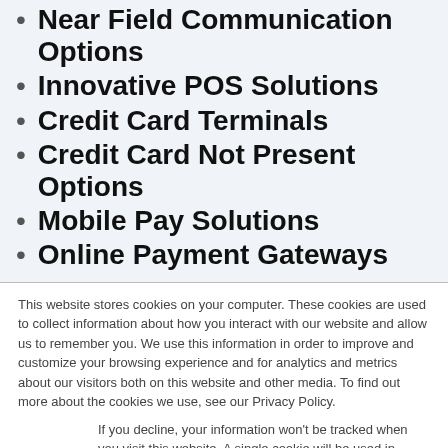Near Field Communication Options
Innovative POS Solutions
Credit Card Terminals
Credit Card Not Present Options
Mobile Pay Solutions
Online Payment Gateways
This website stores cookies on your computer. These cookies are used to collect information about how you interact with our website and allow us to remember you. We use this information in order to improve and customize your browsing experience and for analytics and metrics about our visitors both on this website and other media. To find out more about the cookies we use, see our Privacy Policy.
If you decline, your information won’t be tracked when you visit this website. A single cookie will be used in your browser to remember your preference not to be tracked.
Accept
Decline